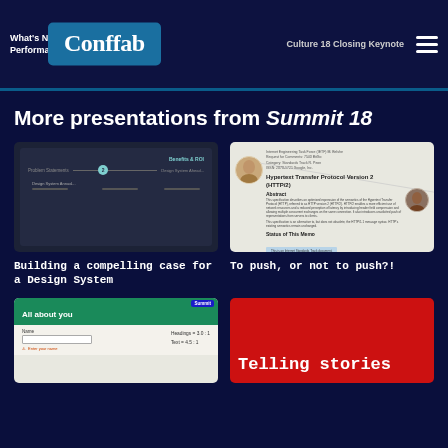What's New at the W3C Web Performance Working Group? | Culture 18 Closing Keynote | Conffab
More presentations from Summit 18
[Figure (screenshot): Dark slide thumbnail showing a design system roadmap with teal dot and labels]
Building a compelling case for a Design System
[Figure (screenshot): Screenshot of HTTP/2 specification document with avatars and diagonal line]
To push, or not to push?!
[Figure (screenshot): Summit slide showing accessibility form with headings and text contrast ratios]
[Figure (screenshot): Red slide with 'Telling stories' title]